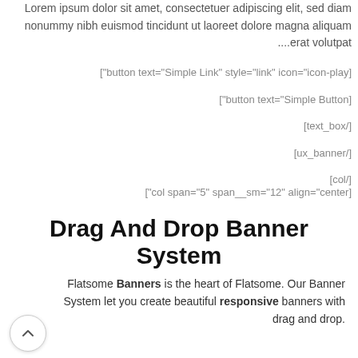Lorem ipsum dolor sit amet, consectetuer adipiscing elit, sed diam nonummy nibh euismod tincidunt ut laoreet dolore magna aliquam ....erat volutpat
["button text="Simple Link" style="link" icon="icon-play]
["button text="Simple Button]
[text_box/]
[ux_banner/]
[col/]
["col span="5" span__sm="12" align="center]
Drag And Drop Banner System
Flatsome Banners is the heart of Flatsome. Our Banner System let you create beautiful responsive banners with drag and drop.